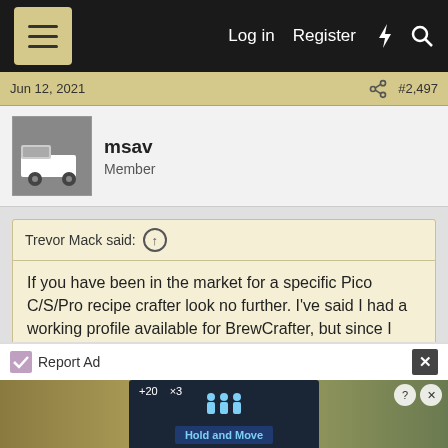Log in  Register
Jun 12, 2021  #2,497
msav
Member
Trevor Mack said: ↑
If you have been in the market for a specific Pico C/S/Pro recipe crafter look no further. I've said I had a working profile available for BrewCrafter, but since I haven't gotten traction getting that merged and released in the "official beta crafter" experience why not make it available in an "unofficial alpha/beta crafter.
Click to expand...
Report Ad